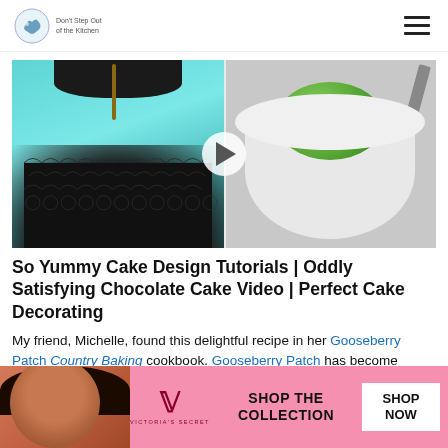Logo / site header with hamburger menu
[Figure (photo): Video thumbnail showing two cake decorating scenes: left side shows a blue spherical cake with dark chocolate lace base held by black gloved hands, right side shows a green ball chocolate mold in a white container. A play button is centered over the image.]
So Yummy Cake Design Tutorials | Oddly Satisfying Chocolate Cake Video | Perfect Cake Decorating
My friend, Michelle, found this delightful recipe in her Gooseberry Patch Country Baking cookbook. Gooseberry Patch has become synonymous with offering great recip... excell... ve
[Figure (photo): Victoria's Secret advertisement banner showing a model with curly hair, VS logo, and text 'SHOP THE COLLECTION' with a 'SHOP NOW' button. A CLOSE button appears above the ad.]